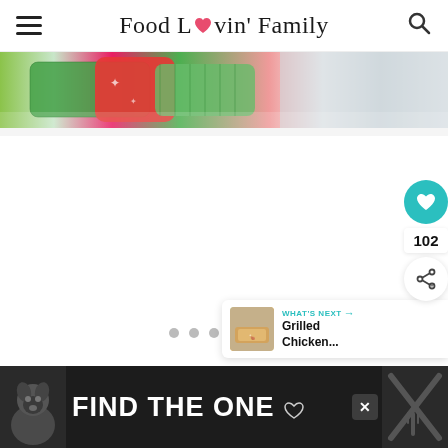Food Lovin' Family
[Figure (photo): Colorful Christmas gift wrapping rolls — red, green, and patterned — partial top strip view]
[Figure (screenshot): White content card area with social sharing sidebar showing heart button, 102 likes count, and share button; slide navigation dots; What's Next panel showing Grilled Chicken...]
[Figure (photo): Advertisement banner: dark background with dog photo on left, text FIND THE ONE with heart icon, X close button, and decorative pattern on right]